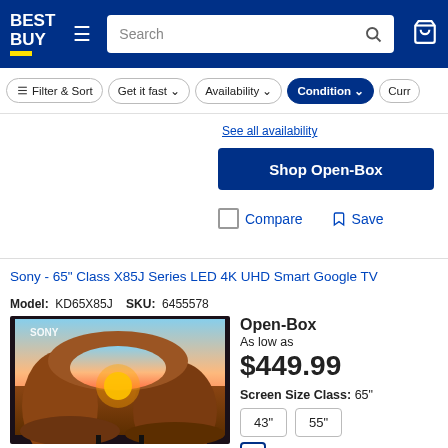Best Buy - Filter & Sort, Get it fast, Availability, Condition, Currency filter bar with Search
See all availability
Shop Open-Box
Compare   Save
Sony - 65" Class X85J Series LED 4K UHD Smart Google TV
Model: KD65X85J   SKU: 6455578
[Figure (photo): Sony TV product image showing a television displaying a scenic landscape with a rock arch formation and sunset sky]
Open-Box
As low as
$449.99
Screen Size Class: 65"
43"  55"